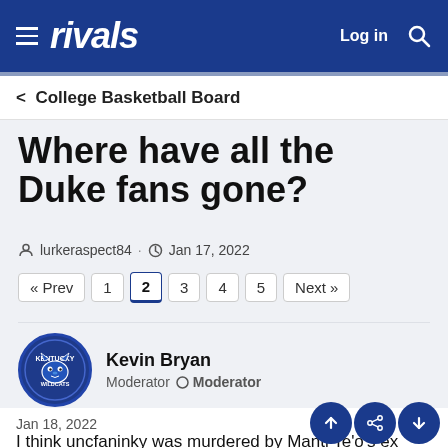rivals — Log in
< College Basketball Board
Where have all the Duke fans gone?
lurkeraspect84 · Jan 17, 2022
« Prev  1  2  3  4  5  Next »
Kevin Bryan
Moderator  ○ Moderator
Jan 18, 2022
I think uncfaninky was murdered by Manti Te'o's ex right